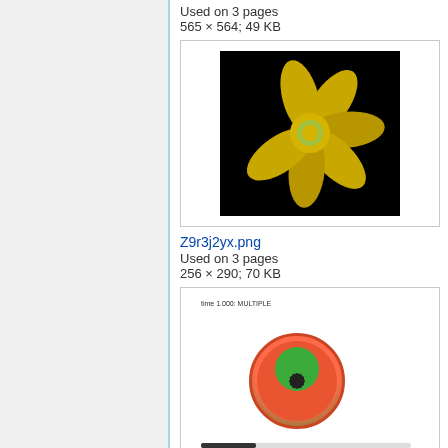Used on 3 pages
565 × 564; 49 KB
[Figure (photo): Daffodil flower on black background]
Z9r3j2yx.png
Used on 3 pages
256 × 290; 70 KB
[Figure (illustration): GPT TwoWayHeart simulation screenshot with circular colorful diagram and progress bar]
GPT TwoWayHeart 20...